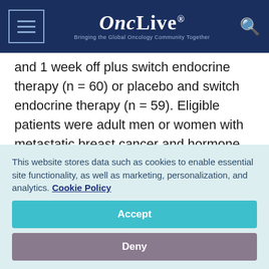OncLive® — Bringing the Global Oncology Community Together
and 1 week off plus switch endocrine therapy (n = 60) or placebo and switch endocrine therapy (n = 59). Eligible patients were adult men or women with metastatic breast cancer and hormone receptor positivity of at least 1% and HER2 negativity.
All patients had progressed on prior endocrine
This website stores data such as cookies to enable essential site functionality, as well as marketing, personalization, and analytics. Cookie Policy
Accept
Deny